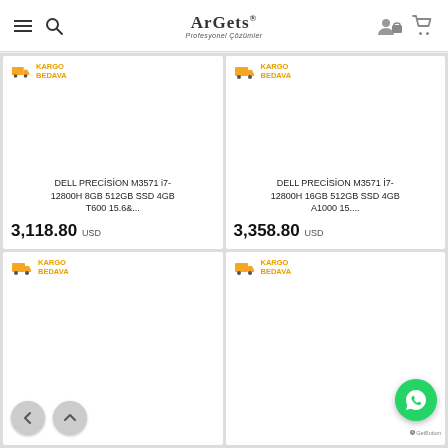ArGets Profesyonel Çözümler
KARGO BEDAVA
DELL PRECİSİON M3571 i7-12800H 8GB 512GB SSD 4GB T600 15.6&...
3,118.80 USD
KARGO BEDAVA
DELL PRECİSİON M3571 İ7-12800H 16GB 512GB SSD 4GB A1000 15....
3,358.80 USD
KARGO BEDAVA
KARGO BEDAVA